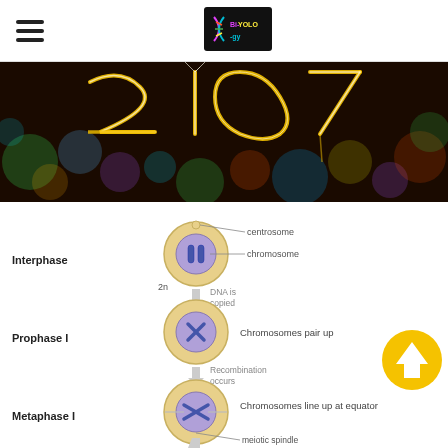Bi-YOLO-gy (logo with hamburger menu)
[Figure (photo): Sparkler photo showing glowing number 2017 or similar digits written with sparklers against a bokeh background of colorful lights]
[Figure (infographic): Meiosis stages diagram showing Interphase (chromosome in cell with centrosome label, 2n, DNA is copied), Prophase I (chromosomes pair up, recombination occurs), Metaphase I (chromosomes line up at equator, meiotic spindle label)]